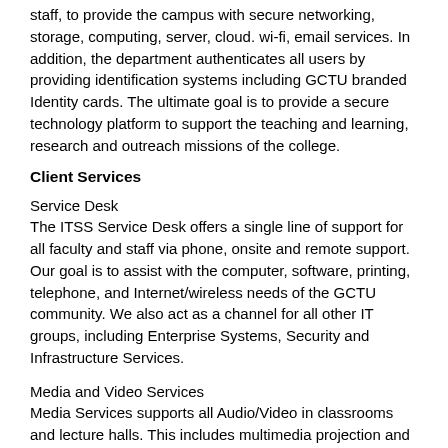staff, to provide the campus with secure networking, storage, computing, server, cloud. wi-fi, email services. In addition, the department authenticates all users by providing identification systems including GCTU branded Identity cards. The ultimate goal is to provide a secure technology platform to support the teaching and learning, research and outreach missions of the college.
Client Services
Service Desk
The ITSS Service Desk offers a single line of support for all faculty and staff via phone, onsite and remote support. Our goal is to assist with the computer, software, printing, telephone, and Internet/wireless needs of the GCTU community. We also act as a channel for all other IT groups, including Enterprise Systems, Security and Infrastructure Services.
Media and Video Services
Media Services supports all Audio/Video in classrooms and lecture halls. This includes multimedia projection and AV services and support for classes and events, video conferencing and lecture capture.
Training & Capacity Building
ITSS carries out periodic training, capacity building and professional development activities targeted at all members of the GCTU community. This is to help empower students, faculty, and staff to use